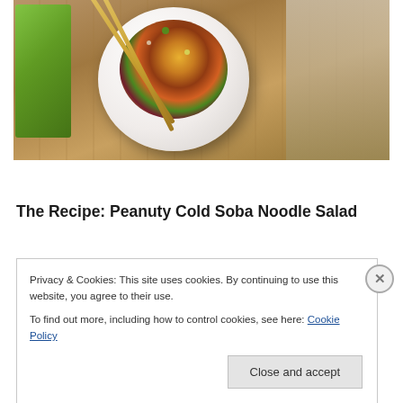[Figure (photo): Overhead photo of a bowl of peanut soba noodle salad with chopsticks, colorful vegetables including carrots, red cabbage, broccoli, and herbs, on a wooden surface with a green cloth napkin]
The Recipe: Peanuty Cold Soba Noodle Salad
Privacy & Cookies: This site uses cookies. By continuing to use this website, you agree to their use.
To find out more, including how to control cookies, see here: Cookie Policy
Close and accept